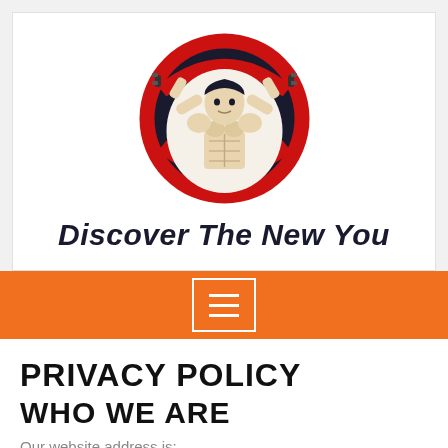[Figure (logo): Circular logo with dark navy and red border showing a muscular man lifting dumbbells]
Discover The New You
[Figure (other): Orange navigation bar with a hamburger menu button (three horizontal lines) inside a white rectangle border]
PRIVACY POLICY
WHO WE ARE
Our website address is: .
COMMENTS